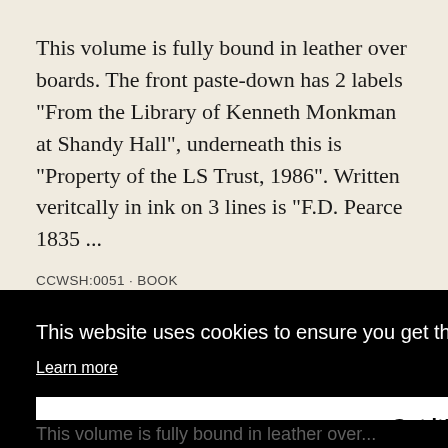This volume is fully bound in leather over boards. The front paste-down has 2 labels "From the Library of Kenneth Monkman at Shandy Hall", underneath this is "Property of the LS Trust, 1986". Written veritcally in ink on 3 lines is "F.D. Pearce 1835 ...
CCWSH:0051 · BOOK
This website uses cookies to ensure you get the best experience on our website.
Learn more
Got it!
This volume is fully bound in leather over...